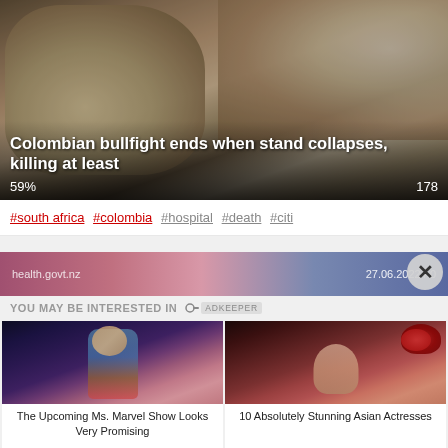[Figure (photo): Aerial view of a crowded Colombian bullfight arena with stands full of people]
Colombian bullfight ends when stand collapses, killing at least
59%  178
#south africa  #colombia  #hospital  #death  #citi
[Figure (screenshot): Banner showing health.govt.nz and date 27.06.2022]
YOU MAY BE INTERESTED IN
[Figure (photo): Ms. Marvel superhero character in costume]
The Upcoming Ms. Marvel Show Looks Very Promising
[Figure (photo): Beautiful Asian actress with red roses in her hair]
10 Absolutely Stunning Asian Actresses